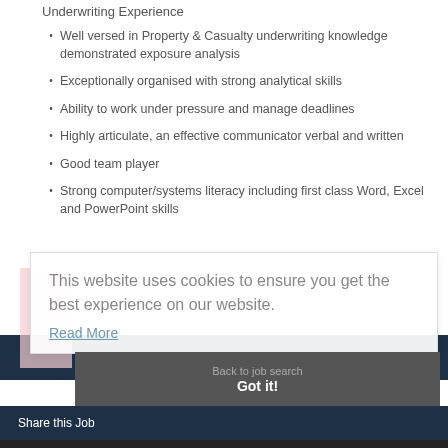Underwriting Experience
Well versed in Property & Casualty underwriting knowledge demonstrated exposure analysis
Exceptionally organised with strong analytical skills
Ability to work under pressure and manage deadlines
Highly articulate, an effective communicator verbal and written
Good team player
Strong computer/systems literacy including first class Word, Excel and PowerPoint skills
This website uses cookies to ensure you get the best experience on our website. Read More
Back to job search
Got it!
Share this Job